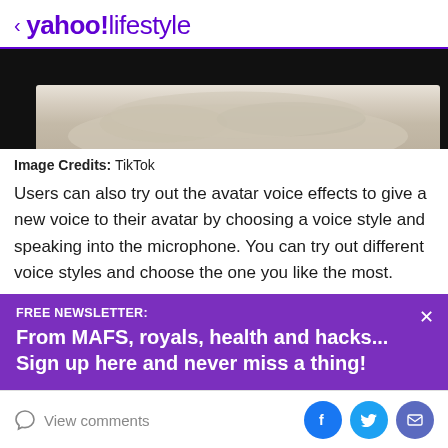< yahoo!lifestyle
[Figure (photo): Food image (oatmeal/porridge in a bowl) partially visible against dark background]
Image Credits: TikTok
Users can also try out the avatar voice effects to give a new voice to their avatar by choosing a voice style and speaking into the microphone. You can try out different voice styles and choose the one you like the most.
FREE NEWSLETTER:
From MAFS, royals, health and hacks... Sign up here and never miss a thing!
View comments